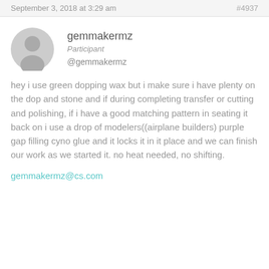September 3, 2018 at 3:29 am  #4937
gemmakermz
Participant
@gemmakermz
hey i use green dopping wax but i make sure i have plenty on the dop and stone and if during completing transfer or cutting and polishing, if i have a good matching pattern in seating it back on i use a drop of modelers((airplane builders) purple gap filling cyno glue and it locks it in it place and we can finish our work as we started it. no heat needed, no shifting.
gemmakermz@cs.com